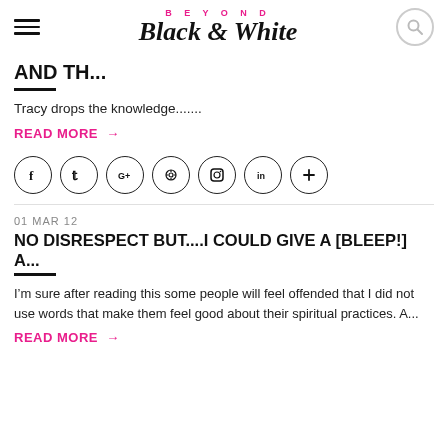BEYOND Black & White
AND TH...
Tracy drops the knowledge.......
READ MORE →
[Figure (other): Social media icons row: Facebook, Twitter, Google+, Pinterest, Instagram, LinkedIn, Plus]
NO DISRESPECT BUT....I COULD GIVE A [BLEEP!] A...
I'm sure after reading this some people will feel offended that I did not use words that make them feel good about their spiritual practices. A...
READ MORE →